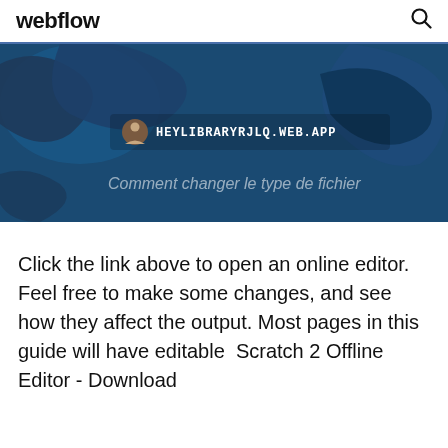webflow
[Figure (screenshot): Hero banner with a dark blue map background showing a webpage URL bar with icon reading HEYLIBRARYRJLQ.WEB.APP and subtitle text 'Comment changer le type de fichier']
Click the link above to open an online editor. Feel free to make some changes, and see how they affect the output. Most pages in this guide will have editable  Scratch 2 Offline Editor - Download